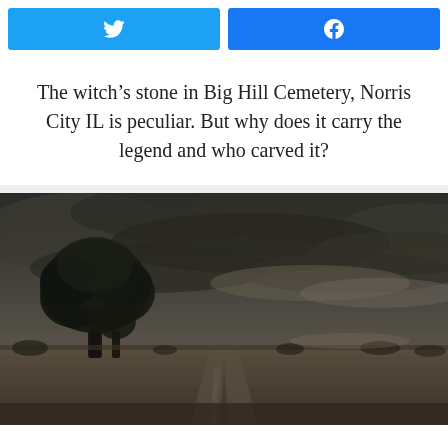[Figure (other): Twitter and Facebook share buttons side by side — Twitter button (blue #1da1f2) on left, Facebook button (blue #1877f2) on right, each with white icon]
The witch’s stone in Big Hill Cemetery, Norris City IL is peculiar. But why does it carry the legend and who carved it?
[Figure (photo): Moody dark landscape photograph showing a lone large tree on the left against a stormy dark grey sky with dramatic clouds, a flat rural field with a dirt road splitting in the foreground, dark olive/brown tones throughout]